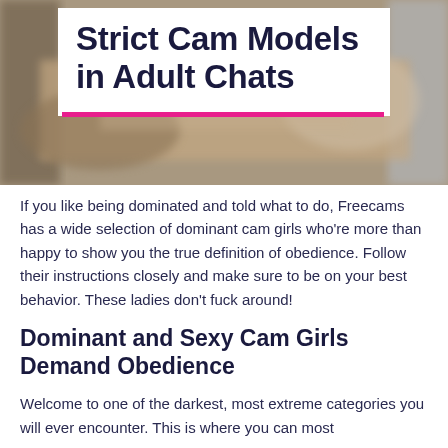[Figure (photo): Blurred background photo of a person, with a white overlay text box containing the article title]
Strict Cam Models in Adult Chats
If you like being dominated and told what to do, Freecams has a wide selection of dominant cam girls who're more than happy to show you the true definition of obedience. Follow their instructions closely and make sure to be on your best behavior. These ladies don't fuck around!
Dominant and Sexy Cam Girls Demand Obedience
Welcome to one of the darkest, most extreme categories you will ever encounter. This is where you can most